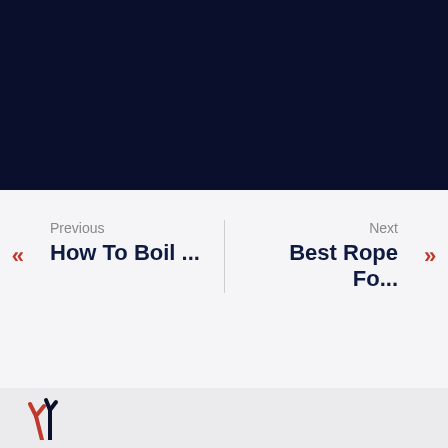[Figure (photo): Dark navy/black image block at the top of the page]
« Previous How To Boil ...   | Next Best Rope Fo... »
[Figure (logo): Partial red and dark logo visible at the bottom left footer area]